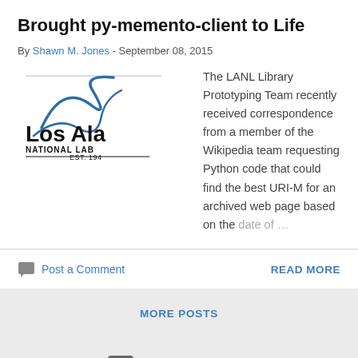Brought py-memento-client to Life
By Shawn M. Jones - September 08, 2015
The LANL Library Prototyping Team recently received correspondence from a member of the Wikipedia team requesting Python code that could find the best URI-M for an archived web page based on the date of ...
Post a Comment
READ MORE
MORE POSTS
Powered by Blogger